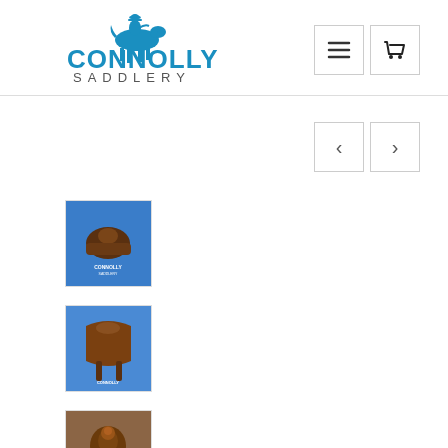[Figure (logo): Connolly Saddlery logo with blue cowboy on horse and bold blue text CONNOLLY SADDLERY]
[Figure (other): Navigation menu icon (hamburger) button]
[Figure (other): Shopping cart icon button]
[Figure (other): Left carousel navigation arrow button]
[Figure (other): Right carousel navigation arrow button]
[Figure (photo): Thumbnail image 1: Western saddle on blue Connolly Saddlery branded background]
[Figure (photo): Thumbnail image 2: Back of saddle with blue Connolly Saddlery branded background]
[Figure (photo): Thumbnail image 3: Top view of saddle horn area on brown background]